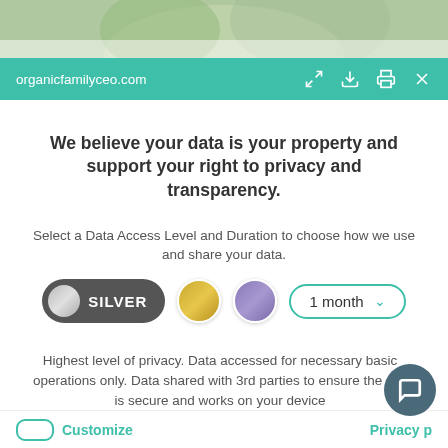[Figure (screenshot): Top portion of website photo showing greenery and a person]
organicfamilyceo.com
We believe your data is your property and support your right to privacy and transparency.
Select a Data Access Level and Duration to choose how we use and share your data.
[Figure (infographic): Privacy controls row: SILVER button selected, gold circle, purple circle, and 1 month dropdown selector]
Highest level of privacy. Data accessed for necessary basic operations only. Data shared with 3rd parties to ensure the site is secure and works on your device
[Figure (infographic): Save my preferences button - teal rounded button]
Customize
Privacy p